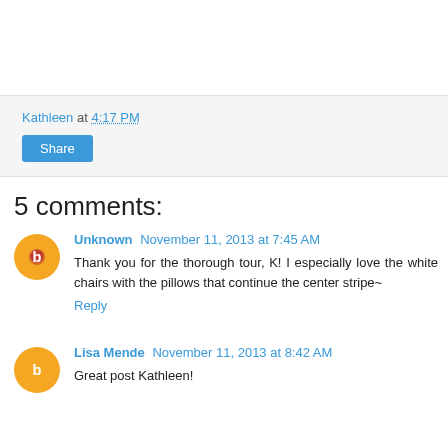Kathleen at 4:17 PM
Share
5 comments:
Unknown  November 11, 2013 at 7:45 AM
Thank you for the thorough tour, K! I especially love the white chairs with the pillows that continue the center stripe~
Reply
Lisa Mende  November 11, 2013 at 8:42 AM
Great post Kathleen!